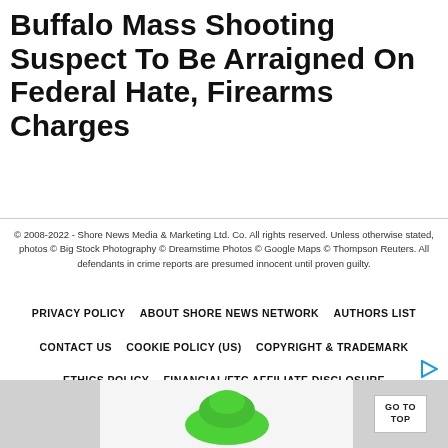Buffalo Mass Shooting Suspect To Be Arraigned On Federal Hate, Firearms Charges
© 2008-2022 - Shore News Media & Marketing Ltd. Co. All rights reserved. Unless otherwise stated, photos © Big Stock Photography © Dreamstime Photos © Google Maps © Thompson Reuters. All defendants in crime reports are presumed innocent until proven guilty.
PRIVACY POLICY    ABOUT SHORE NEWS NETWORK    AUTHORS LIST    CONTACT US    COOKIE POLICY (US)    COPYRIGHT & TRADEMARK    ETHICS POLICY    FINANCIAL/FTC AFFILIATE DISCLOSURE    GOOGLE ADSENSE TERMS OF SERVICE
[Figure (other): Advertisement banner with green shoe product image at bottom of page with GO TO TOP button on right]